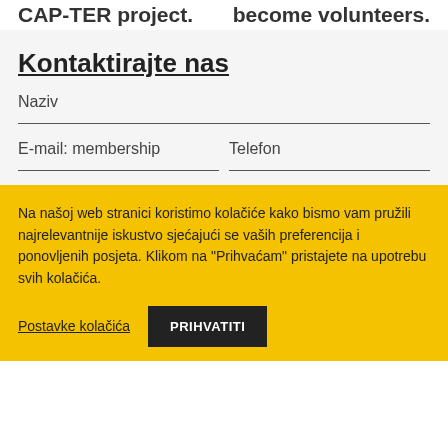CAP-TER project. become volunteers.
Kontaktirajte nas
Naziv
E-mail: membership
Telefon
Na našoj web stranici koristimo kolačiće kako bismo vam pružili najrelevantnije iskustvo sjećajući se vaših preferencija i ponovljenih posjeta. Klikom na "Prihvaćam" pristajete na upotrebu svih kolačića.
Postavke kolačića
PRIHVATITI